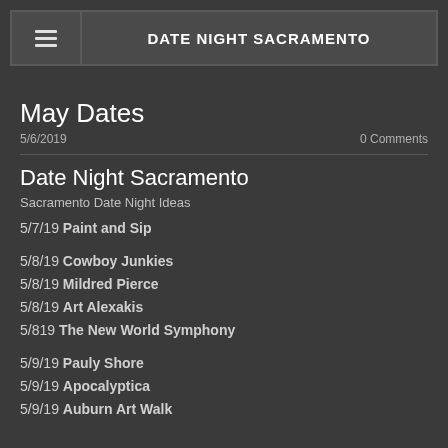DATE NIGHT SACRAMENTO
May Dates
5/6/2019    0 Comments
Date Night Sacramento
Sacramento Date Night Ideas
5/7/19 Paint and Sip
5/8/19 Cowboy Junkies
5/8/19 Mildred Pierce
5/8/19 Art Alexakis
5/819 The New World Symphony
5/9/19 Pauly Shore
5/9/19 Apocalyptica
5/9/19 Auburn Art Walk